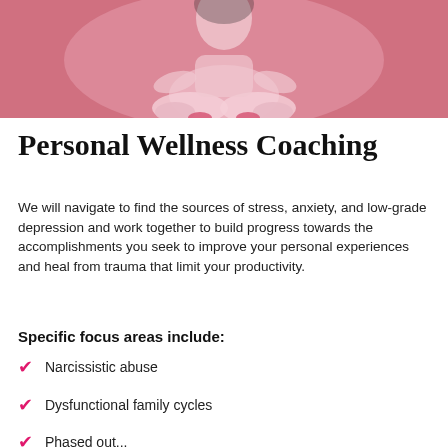[Figure (photo): Person sitting cross-legged in meditation pose on a pink background, wearing pink/white clothing, viewed from the waist down]
Personal Wellness Coaching
We will navigate to find the sources of stress, anxiety, and low-grade depression and work together to build progress towards the accomplishments you seek to improve your personal experiences and heal from trauma that limit your productivity.
Specific focus areas include:
Narcissistic abuse
Dysfunctional family cycles
Phased out...